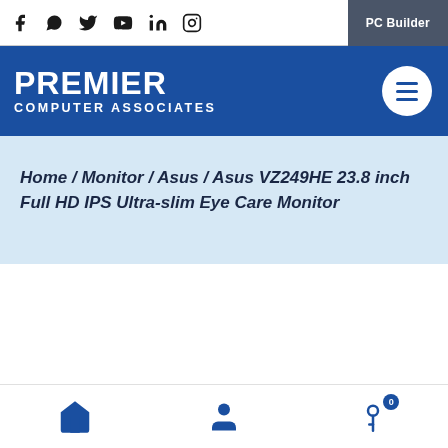Social icons: Facebook, WhatsApp, Twitter, YouTube, LinkedIn, Instagram | PC Builder
[Figure (logo): Premier Computer Associates logo — white text on blue background]
Home / Monitor / Asus / Asus VZ249HE 23.8 inch Full HD IPS Ultra-slim Eye Care Monitor
Bottom navigation: Home, User/Account, Cart (0)